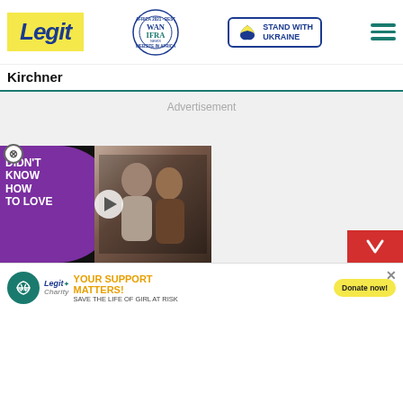Legit — WAN IFRA Best News Website in Africa 2021 — Stand With Ukraine
Kirchner
[Figure (screenshot): Advertisement placeholder area (grey box)]
[Figure (screenshot): Video player overlay with purple bubble text: DIDN'T KNOW HOW TO LOVE, close button (X), play button, couple photo, red down-arrow button]
[Figure (screenshot): Legit Charity / WARF banner: YOUR SUPPORT MATTERS! SAVE THE LIFE OF GIRL AT RISK — Donate now! button]